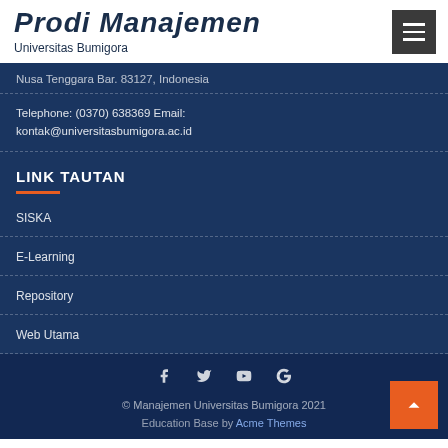Prodi Manajemen
Universitas Bumigora
Nusa Tenggara Bar. 83127, Indonesia
Telephone: (0370) 638369 Email: kontak@universitasbumigora.ac.id
LINK TAUTAN
SISKA
E-Learning
Repository
Web Utama
© Manajemen Universitas Bumigora 2021
Education Base by Acme Themes